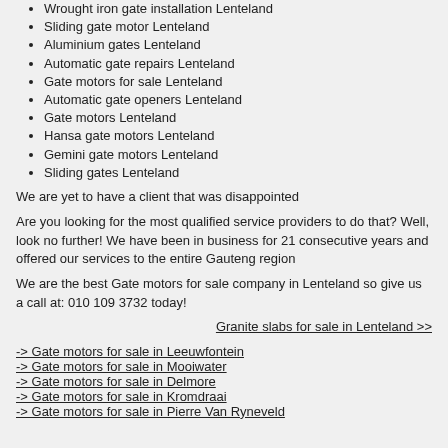Wrought iron gate installation Lenteland
Sliding gate motor Lenteland
Aluminium gates Lenteland
Automatic gate repairs Lenteland
Gate motors for sale Lenteland
Automatic gate openers Lenteland
Gate motors Lenteland
Hansa gate motors Lenteland
Gemini gate motors Lenteland
Sliding gates Lenteland
We are yet to have a client that was disappointed
Are you looking for the most qualified service providers to do that? Well, look no further! We have been in business for 21 consecutive years and offered our services to the entire Gauteng region
We are the best Gate motors for sale company in Lenteland so give us a call at: 010 109 3732 today!
Granite slabs for sale in Lenteland >>
-> Gate motors for sale in Leeuwfontein
-> Gate motors for sale in Mooiwater
-> Gate motors for sale in Delmore
-> Gate motors for sale in Kromdraai
-> Gate motors for sale in Pierre Van Ryneveld